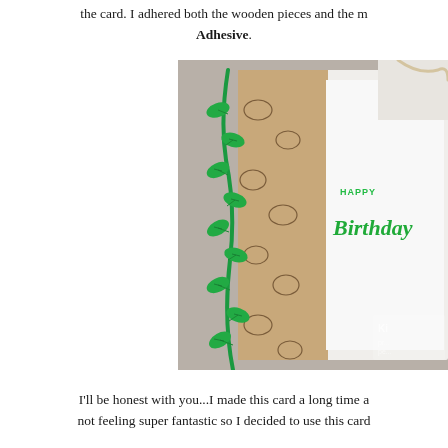the card. I adhered both the wooden pieces and the [image with] Adhesive.
[Figure (photo): Close-up photograph of a handmade birthday card featuring a green vine with leaves die-cut element along the left edge, a patterned panel with hedgehog/animal stamps in brown ink, and white card stock with 'HAPPY Birthday' text in bright green ink. The card appears to be propped open at an angle. There is a small watermark in the lower right corner.]
I'll be honest with you...I made this card a long time a[go] not feeling super fantastic so I decided to use this card...